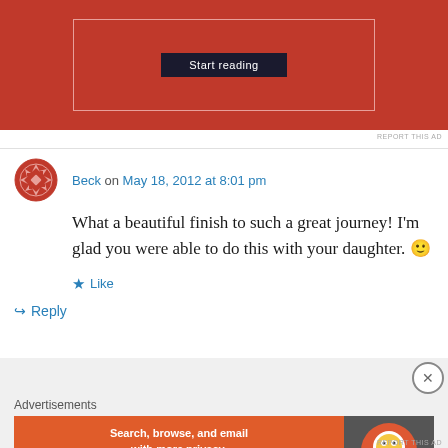[Figure (screenshot): Top advertisement banner with red background and 'Start reading' button]
REPORT THIS AD
Beck on May 18, 2012 at 8:01 pm
What a beautiful finish to such a great journey! I'm glad you were able to do this with your daughter. 🙂
Like
Reply
[Figure (screenshot): DuckDuckGo advertisement: Search, browse, and email with more privacy. All in One Free App]
Advertisements
REPORT THIS AD